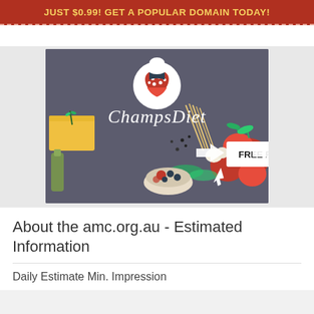JUST $0.99! GET A POPULAR DOMAIN TODAY!
[Figure (illustration): ChampsDiet promotional banner with food background (tomatoes, pasta, cheese, olives), a heart-shaped American flag logo with chef hat, 'ChampsDiet' script text, and a 'FREE RECIPES' button with arrows pointing to it and a cursor icon]
About the amc.org.au - Estimated Information
Daily Estimate Min. Impression